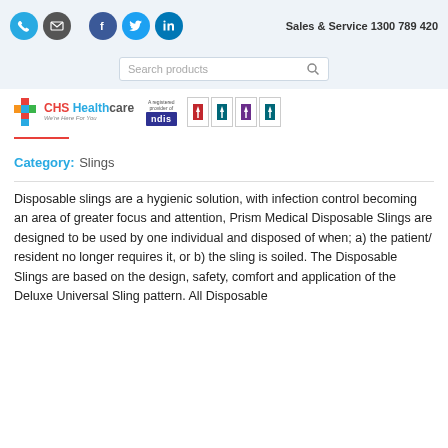Sales & Service 1300 789 420
[Figure (logo): CHS Healthcare logo with tagline 'We're Here For You', NDIS registered provider badge, and certification badges]
Category: Slings
Disposable slings are a hygienic solution, with infection control becoming an area of greater focus and attention, Prism Medical Disposable Slings are designed to be used by one individual and disposed of when; a) the patient/ resident no longer requires it, or b) the sling is soiled. The Disposable Slings are based on the design, safety, comfort and application of the Deluxe Universal Sling pattern. All Disposable